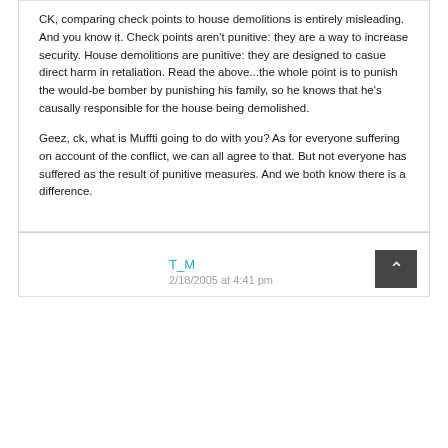CK, comparing check points to house demolitions is entirely misleading. And you know it. Check points aren't punitive: they are a way to increase security. House demolitions are punitive: they are designed to casue direct harm in retaliation. Read the above...the whole point is to punish the would-be bomber by punishing his family, so he knows that he's causally responsible for the house being demolished.
Geez, ck, what is Muffti going to do with you? As for everyone suffering on account of the conflict, we can all agree to that. But not everyone has suffered as the result of punitive measures. And we both know there is a difference.
T_M
2/18/2005 at 4:41 pm